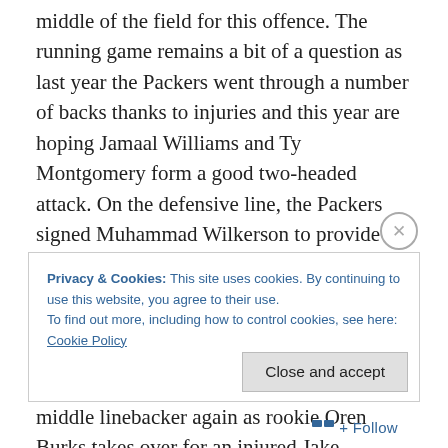middle of the field for this offence. The running game remains a bit of a question as last year the Packers went through a number of backs thanks to injuries and this year are hoping Jamaal Williams and Ty Montgomery form a good two-headed attack. On the defensive line, the Packers signed Muhammad Wilkerson to provide some more pressure from the line alongside Kenny Clark and Mike Daniels. Behind the line, Clay Matthews continues to be a jack of all trades and a great rusher across from Nick Perry. Matthews may have to fill in at middle linebacker again as rookie Oren Burks takes over for an injured Jake
Privacy & Cookies: This site uses cookies. By continuing to use this website, you agree to their use.
To find out more, including how to control cookies, see here: Cookie Policy
Close and accept